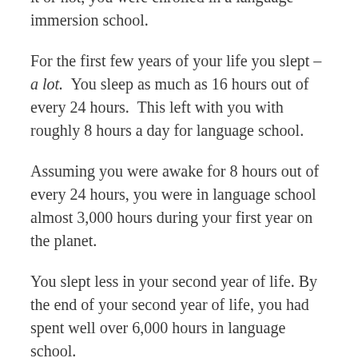it or not, you were enrolled in a language immersion school.
For the first few years of your life you slept – a lot. You sleep as much as 16 hours out of every 24 hours. This left with you with roughly 8 hours a day for language school.
Assuming you were awake for 8 hours out of every 24 hours, you were in language school almost 3,000 hours during your first year on the planet.
You slept less in your second year of life. By the end of your second year of life, you had spent well over 6,000 hours in language school.
Before your third year was complete, you had